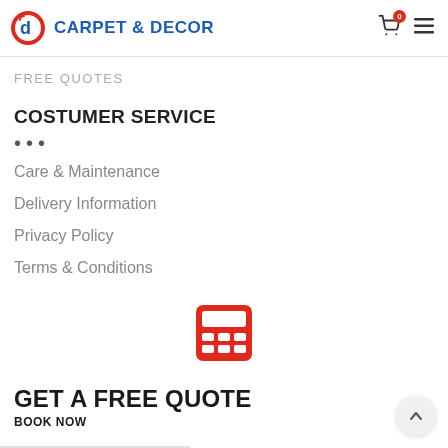CARPET & DECOR
FREE QUOTES
COSTUMER SERVICE
...
Care & Maintenance
Delivery Information
Privacy Policy
Terms & Conditions
[Figure (other): Red calculator icon]
GET A FREE QUOTE
BOOK NOW